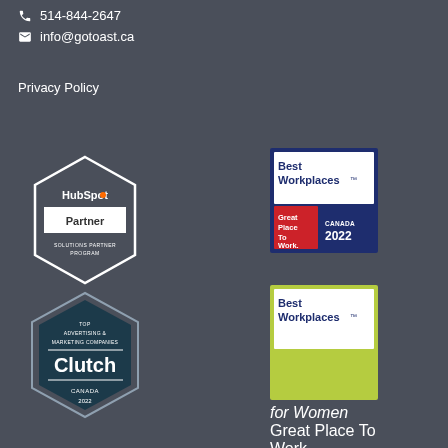514-844-2647
info@gotoast.ca
Privacy Policy
[Figure (logo): HubSpot Solutions Partner Program badge - white hexagonal diamond shape with HubSpot text and 'Partner' banner]
[Figure (logo): Best Workplaces Canada 2022 badge - blue and white square with Great Place To Work red box]
[Figure (logo): Clutch Top Advertising & Marketing Companies Canada 2022 hexagonal badge - dark teal and white]
[Figure (logo): Best Workplaces for Women Canada 2022 badge - green and white square with Great Place To Work red box]